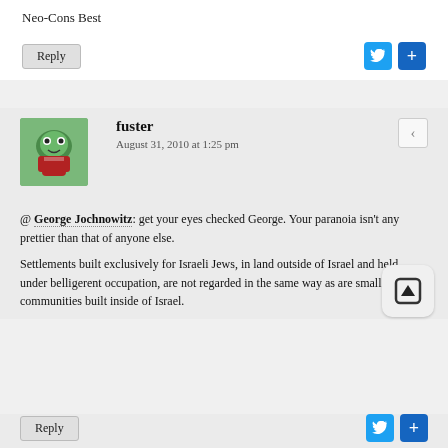Neo-Cons Best
Reply
fuster
August 31, 2010 at 1:25 pm
@ George Jochnowitz: get your eyes checked George. Your paranoia isn't any prettier than that of anyone else.

Settlements built exclusively for Israeli Jews, in land outside of Israel and held under belligerent occupation, are not regarded in the same way as are small communities built inside of Israel.